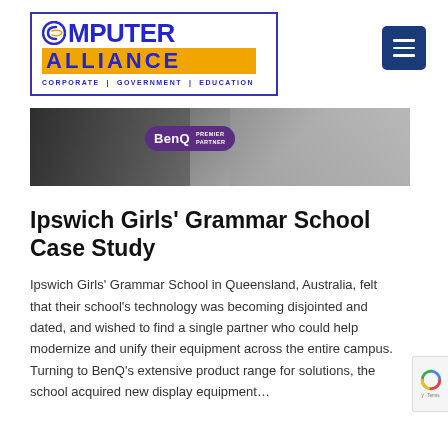[Figure (logo): Computer Alliance logo with blue border box. 'COMPUTER' in large dark blue bold text with a C-swish icon, 'ALLIANCE' on orange bar in dark blue bold text, tagline 'CORPORATE | GOVERNMENT | EDUCATION' in small dark blue text below.]
[Figure (screenshot): Navigation menu button (hamburger icon) — dark navy blue square with three white horizontal lines.]
[Figure (photo): Banner photo of students/people in a classroom or office setting with a BenQ Premier Partner badge/logo overlaid.]
Ipswich Girls' Grammar School Case Study
Ipswich Girls' Grammar School in Queensland, Australia, felt that their school's technology was becoming disjointed and dated, and wished to find a single partner who could help modernize and unify their equipment across the entire campus. Turning to BenQ's extensive product range for solutions, the school acquired new display equipment...